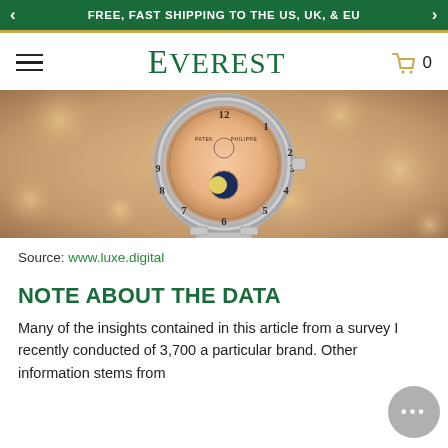FREE, FAST SHIPPING TO THE US, UK, & EU
[Figure (logo): Everest brand logo with hamburger menu and shopping cart icon showing 0 items]
[Figure (photo): Close-up of a luxury Patek Philippe watch with rose gold dial showing moon phase complication, silver case and bracelet, against a bokeh gold/brown background]
Source: www.luxe.digital
NOTE ABOUT THE DATA
Many of the insights contained in this article from a survey I recently conducted of 3,700 a particular brand. Other information stems from